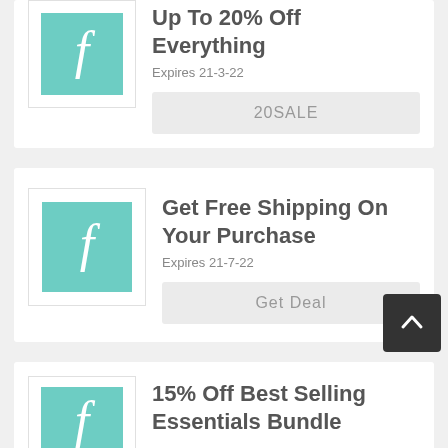[Figure (logo): Teal square logo with white italic 'f' letter]
Up To 20% Off Everything
Expires 21-3-22
20SALE
[Figure (logo): Teal square logo with white italic 'f' letter]
Get Free Shipping On Your Purchase
Expires 21-7-22
Get Deal
[Figure (logo): Teal square logo with white italic 'f' letter]
15% Off Best Selling Essentials Bundle